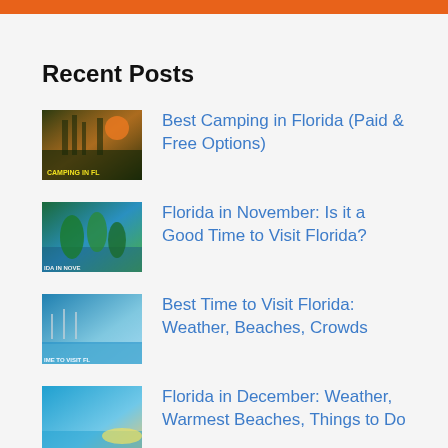Recent Posts
Best Camping in Florida (Paid & Free Options)
Florida in November: Is it a Good Time to Visit Florida?
Best Time to Visit Florida: Weather, Beaches, Crowds
Florida in December: Weather, Warmest Beaches, Things to Do